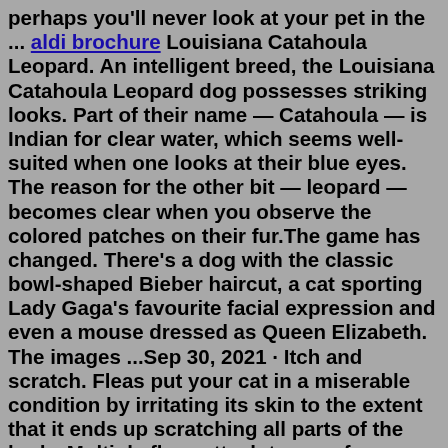perhaps you'll never look at your pet in the ... aldi brochure Louisiana Catahoula Leopard. An intelligent breed, the Louisiana Catahoula Leopard dog possesses striking looks. Part of their name — Catahoula — is Indian for clear water, which seems well-suited when one looks at their blue eyes. The reason for the other bit — leopard — becomes clear when you observe the colored patches on their fur.The game has changed. There's a dog with the classic bowl-shaped Bieber haircut, a cat sporting Lady Gaga's favourite facial expression and even a mouse dressed as Queen Elizabeth. The images ...Sep 30, 2021 · Itch and scratch. Fleas put your cat in a miserable condition by irritating its skin to the extent that it ends up scratching all parts of the body. Multiple fleas attach to your furry friend's body and irritate its skin. The irritation will result in itching, which is a standard reaction. Talented Chinese artist, Xuedaixun, from Zhengzhou of Henan Province decided to materialize the concept. And the results are